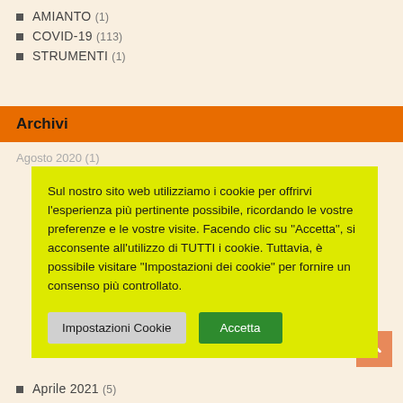AMIANTO (1)
COVID-19 (113)
STRUMENTI (1)
Archivi
Agosto 2020 (1)
Sul nostro sito web utilizziamo i cookie per offrirvi l'esperienza più pertinente possibile, ricordando le vostre preferenze e le vostre visite. Facendo clic su "Accetta", si acconsente all'utilizzo di TUTTI i cookie. Tuttavia, è possibile visitare "Impostazioni dei cookie" per fornire un consenso più controllato.
Aprile 2021 (5)